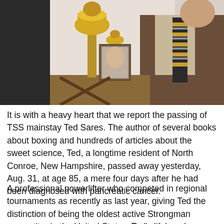[Figure (photo): A man in a brown suit and striped tie stands next to a large golden trophy on a wooden stand. A framed photograph of an older man is visible in the background.]
It is with a heavy heart that we report the passing of TSS mainstay Ted Sares. The author of several books about boxing and hundreds of articles about the sweet science, Ted, a longtime resident of North Conroe, New Hampshire, passed away yesterday, Aug. 31, at age 85, a mere four days after he had been diagnosed with pancreatic cancer.
A professional powerlifter who competed in regional tournaments as recently as last year, giving Ted the distinction of being the oldest active Strongman competitor in the United States. Ted's lifelong love affair